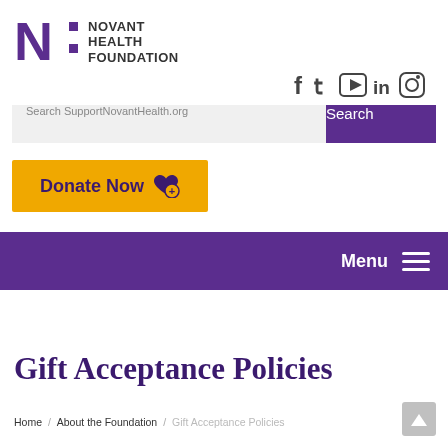[Figure (logo): Novant Health Foundation logo with purple N: icon and gray text reading NOVANT HEALTH FOUNDATION]
[Figure (infographic): Social media icons: Facebook, Twitter, YouTube, LinkedIn, Instagram]
Search SupportNovantHealth.org
Search
Donate Now
Menu
Gift Acceptance Policies
Home / About the Foundation / Gift Acceptance Policies